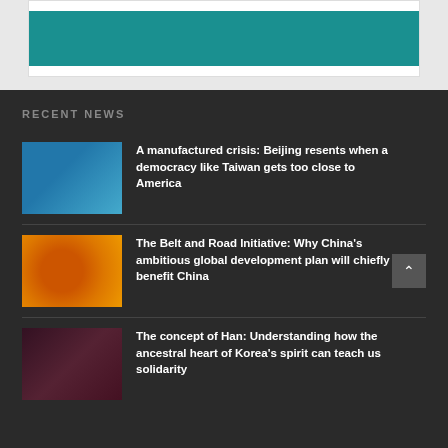[Figure (photo): Teal/dark cyan colored image partially visible at top of page inside a white frame on light gray background]
RECENT NEWS
A manufactured crisis: Beijing resents when a democracy like Taiwan gets too close to America
The Belt and Road Initiative: Why China's ambitious global development plan will chiefly benefit China
The concept of Han: Understanding how the ancestral heart of Korea's spirit can teach us solidarity